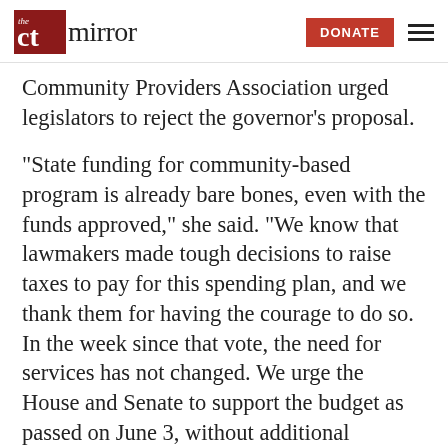CT Mirror | DONATE
Community Providers Association urged legislators to reject the governor's proposal.
“State funding for community-based program is already bare bones, even with the funds approved,” she said. “We know that lawmakers made tough decisions to raise taxes to pay for this spending plan, and we thank them for having the courage to do so. In the week since that vote, the need for services has not changed. We urge the House and Senate to support the budget as passed on June 3, without additional changes.”